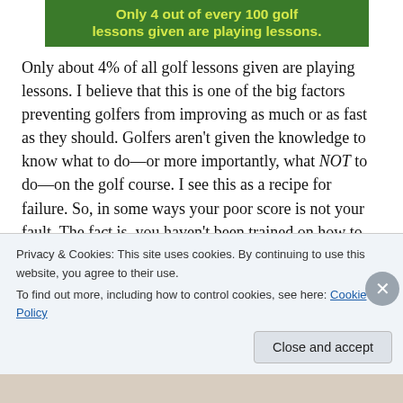[Figure (infographic): Green banner with yellow-green bold text reading: 'Only 4 out of every 100 golf lessons given are playing lessons.']
Only about 4% of all golf lessons given are playing lessons. I believe that this is one of the big factors preventing golfers from improving as much or as fast as they should. Golfers aren't given the knowledge to know what to do—or more importantly, what NOT to do—on the golf course. I see this as a recipe for failure. So, in some ways your poor score is not your fault. The fact is, you haven't been trained on how to PLAY golf. In fact, years ago I was going to give a talk about this very topic
Privacy & Cookies: This site uses cookies. By continuing to use this website, you agree to their use.
To find out more, including how to control cookies, see here: Cookie Policy
Close and accept